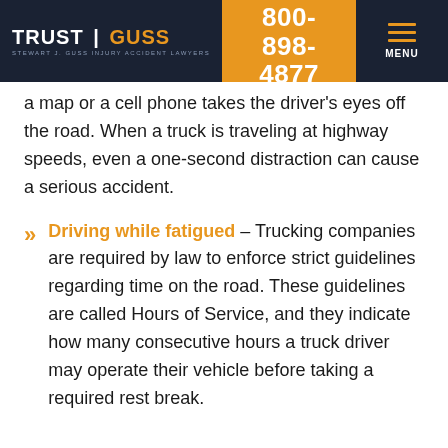TRUST | GUSS — STEWART J. GUSS INJURY ACCIDENT LAWYERS | FREE CASE EVALUATION 800-898-4877 Español | MENU
a map or a cell phone takes the driver's eyes off the road. When a truck is traveling at highway speeds, even a one-second distraction can cause a serious accident.
Driving while fatigued – Trucking companies are required by law to enforce strict guidelines regarding time on the road. These guidelines are called Hours of Service, and they indicate how many consecutive hours a truck driver may operate their vehicle before taking a required rest break.